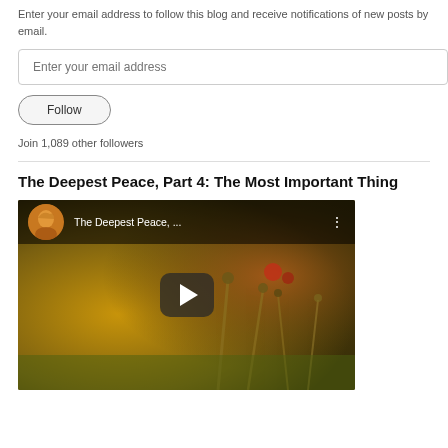Enter your email address to follow this blog and receive notifications of new posts by email.
Enter your email address
Follow
Join 1,089 other followers
The Deepest Peace, Part 4: The Most Important Thing
[Figure (screenshot): YouTube video thumbnail showing 'The Deepest Peace, ...' with a play button overlay and a profile avatar, set against a nature background.]